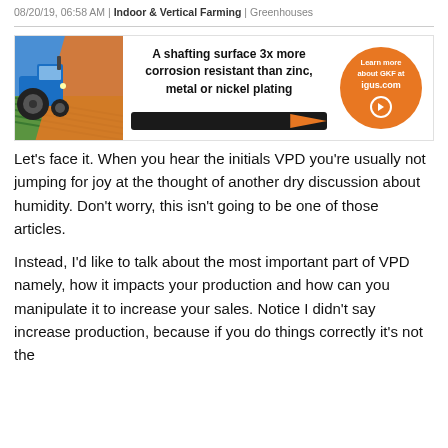08/20/19, 06:58 AM | Indoor & Vertical Farming | Greenhouses
[Figure (illustration): Advertisement banner for igus.com showing a tractor in a field on the left, bold text 'A shafting surface 3x more corrosion resistant than zinc, metal or nickel plating' in center with an orange arrow pointing right toward a black shaft/rod, and an orange circular badge on the right reading 'Learn more about GKF at igus.com' with a play button icon.]
Let's face it. When you hear the initials VPD you're usually not jumping for joy at the thought of another dry discussion about humidity. Don't worry, this isn't going to be one of those articles.
Instead, I'd like to talk about the most important part of VPD namely, how it impacts your production and how can you manipulate it to increase your sales. Notice I didn't say increase production, because if you do things correctly it's not the